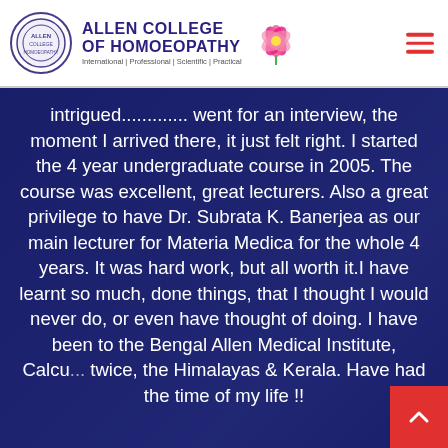[Figure (logo): Allen College of Homoeopathy logo with circular emblem, college name in blue bold text, tagline 'International | Professional | Scientific | Practical', a pink lotus flower graphic, and red hamburger menu icon]
intrigued............. went for an interview, the moment I arrived there, it just felt right. I started the 4 year undergraduate course in 2005. The course was excellent, great lecturers. Also a great privilege to have Dr. Subrata K. Banerjea as our main lecturer for Materia Medica for the whole 4 years. It was hard work, but all worth it.I have learnt so much, done things, that I thought I would never do, or even have thought of doing. I have been to the Bengal Allen Medical Institute, Calcu... twice, the Himalayas & Kerala. Have had the time of my life !!